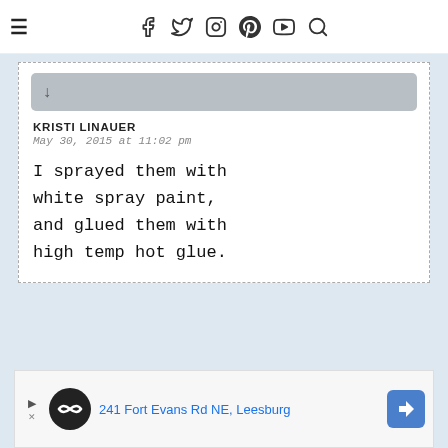≡  f  Twitter  Instagram  Pinterest  YouTube  Search
[Figure (screenshot): Reply bar with down arrow icon, gray rounded rectangle]
KRISTI LINAUER
May 30, 2015 at 11:02 pm
I sprayed them with white spray paint, and glued them with high temp hot glue.
[Figure (other): Advertisement banner: 241 Fort Evans Rd NE, Leesburg with navigation arrow icon]